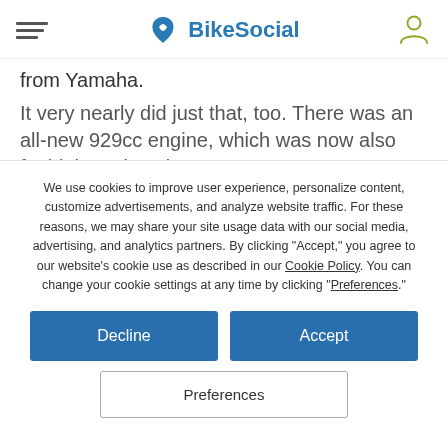BikeSocial
from Yamaha.
It very nearly did just that, too. There was an all-new 929cc engine, which was now also fuel-injected. A clever
We use cookies to improve user experience, personalize content, customize advertisements, and analyze website traffic. For these reasons, we may share your site usage data with our social media, advertising, and analytics partners. By clicking "Accept," you agree to our website's cookie use as described in our Cookie Policy. You can change your cookie settings at any time by clicking "Preferences."
Decline
Accept
Preferences